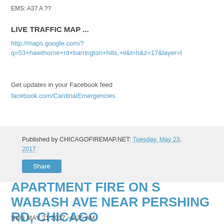EMS: A37 A ??
LIVE TRAFFIC MAP ...
http://maps.google.com/?q=53+hawthorne+rd+barrington+hills,+il&t=h&z=17&layer=t
Get updates in your Facebook feed
facebook.com/CardinalEmergencies
Published by CHICAGOFIREMAP.NET: Tuesday, May 23, 2017
Share
APARTMENT FIRE ON S WABASH AVE NEAR PERSHING RD, CHICAGO
SUN MAY 21 2017 ~6:25 AM